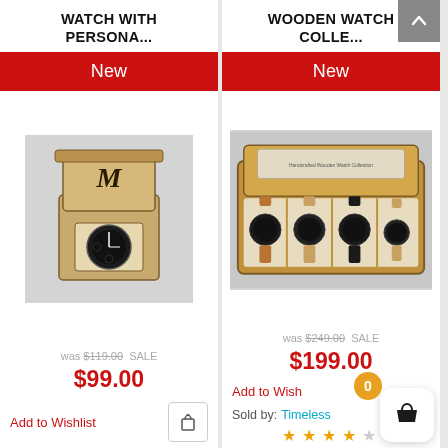WATCH WITH PERSONA...
New
[Figure (photo): A black wristwatch in a personalized wooden gift box with laser-engraved monogram]
was $119.00 SALE
$99.00
Add to Wishlist
WOODEN WATCH COLLE...
New
[Figure (photo): A wooden watch collection box containing four watches]
was $249.00 SALE
$199.00
Add to Wish
Sold by: Timeless
★★★★☆